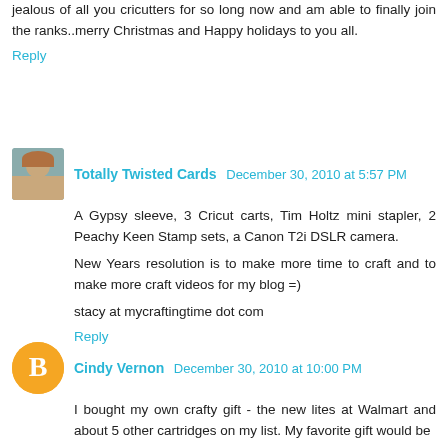jealous of all you cricutters for so long now and am able to finally join the ranks..merry Christmas and Happy holidays to you all.
Reply
Totally Twisted Cards  December 30, 2010 at 5:57 PM
A Gypsy sleeve, 3 Cricut carts, Tim Holtz mini stapler, 2 Peachy Keen Stamp sets, a Canon T2i DSLR camera.
New Years resolution is to make more time to craft and to make more craft videos for my blog =)
stacy at mycraftingtime dot com
Reply
Cindy Vernon  December 30, 2010 at 10:00 PM
I bought my own crafty gift - the new lites at Walmart and about 5 other cartridges on my list. My favorite gift would be